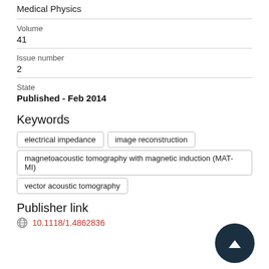Medical Physics
Volume
41
Issue number
2
State
Published - Feb 2014
Keywords
electrical impedance
image reconstruction
magnetoacoustic tomography with magnetic induction (MAT-MI)
vector acoustic tomography
Publisher link
10.1118/1.4862836